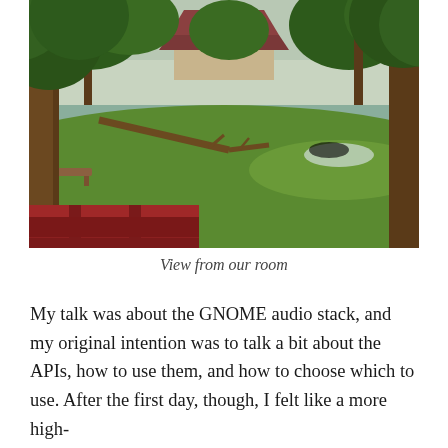[Figure (photo): Outdoor scenic photo showing a pond or lake with trees in the foreground, green grass lawn sloping down to the water, a fallen tree branch extending into the water, and a building with a red/brown roof visible in the background among trees. In the foreground is a red wooden railing/balcony railing. The scene is viewed from a room or building veranda.]
View from our room
My talk was about the GNOME audio stack, and my original intention was to talk a bit about the APIs, how to use them, and how to choose which to use. After the first day, though, I felt like a more high-